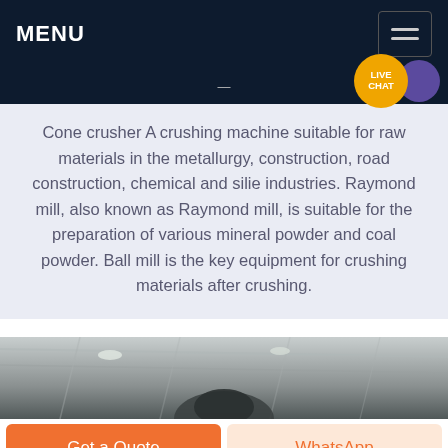MENU
[Figure (screenshot): Mobile website screenshot showing navigation bar with MENU text and hamburger icon, live chat bubble, descriptive text about industrial crushing equipment, a photo of an industrial facility interior, and bottom action buttons for Get a Quote and WhatsApp.]
Cone crusher A crushing machine suitable for raw materials in the metallurgy, construction, road construction, chemical and silie industries. Raymond mill, also known as Raymond mill, is suitable for the preparation of various mineral powder and coal powder. Ball mill is the key equipment for crushing materials after crushing.
[Figure (photo): Industrial interior photo showing factory ceiling with lighting and heavy machinery, appears to be a ball mill or cone crusher in grayscale.]
Get a Quote
WhatsApp